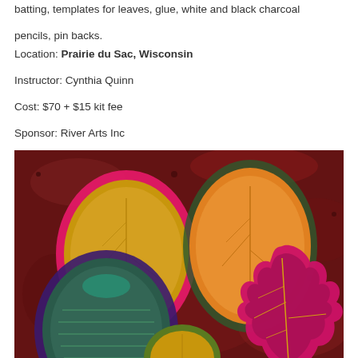batting, templates for leaves, glue, white and black charcoal pencils, pin backs.
Location: Prairie du Sac, Wisconsin
Instructor: Cynthia Quinn
Cost: $70 + $15 kit fee
Sponsor: River Arts Inc
Website, email, 608-643-5215
[Figure (photo): Photograph of four handmade fabric leaf brooches/pins in autumn colors — gold, orange, teal/green, and deep magenta/burgundy — displayed on a dark red/maroon granite surface. The leaves are padded and embroidered with metallic thread details.]